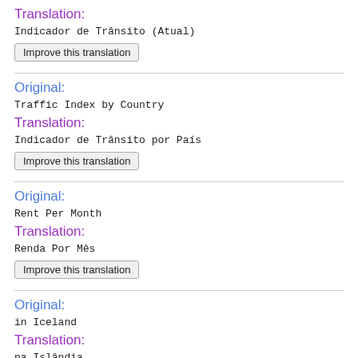Translation:
Indicador de Trânsito (Atual)
Improve this translation
Original:
Traffic Index by Country
Translation:
Indicador de Trânsito por País
Improve this translation
Original:
Rent Per Month
Translation:
Renda Por Mês
Improve this translation
Original:
in Iceland
Translation:
na Islândia
Improve this translation